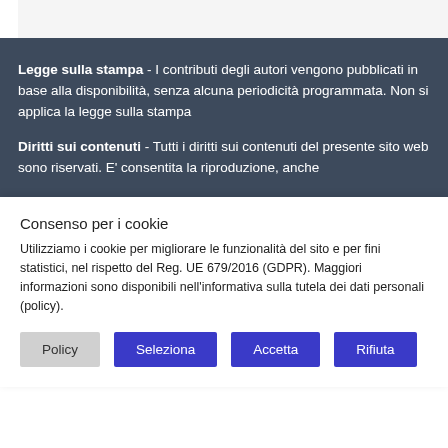Legge sulla stampa - I contributi degli autori vengono pubblicati in base alla disponibilità, senza alcuna periodicità programmata. Non si applica la legge sulla stampa
Diritti sui contenuti - Tutti i diritti sui contenuti del presente sito web sono riservati. E' consentita la riproduzione, anche
Consenso per i cookie
Utilizziamo i cookie per migliorare le funzionalità del sito e per fini statistici, nel rispetto del Reg. UE 679/2016 (GDPR). Maggiori informazioni sono disponibili nell'informativa sulla tutela dei dati personali (policy).